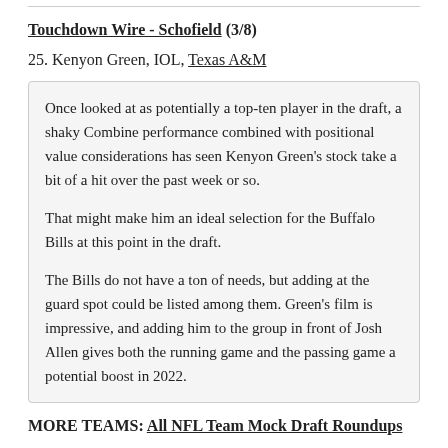Touchdown Wire - Schofield (3/8)
25. Kenyon Green, IOL, Texas A&M
Once looked at as potentially a top-ten player in the draft, a shaky Combine performance combined with positional value considerations has seen Kenyon Green's stock take a bit of a hit over the past week or so.

That might make him an ideal selection for the Buffalo Bills at this point in the draft.

The Bills do not have a ton of needs, but adding at the guard spot could be listed among them. Green's film is impressive, and adding him to the group in front of Josh Allen gives both the running game and the passing game a potential boost in 2022.
MORE TEAMS: All NFL Team Mock Draft Roundups